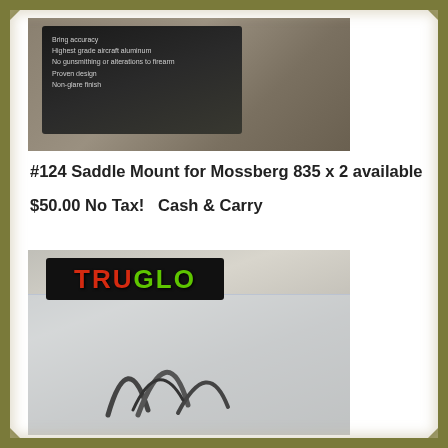[Figure (photo): Product photo of a saddle mount for Mossberg 835 in dark packaging with white text bullet points listing features: accuracy, highest grade aircraft aluminum, no gunsmithing or alterations to firearm, proven design, non-glare finish]
#124 Saddle Mount for Mossberg 835 x 2 available
$50.00 No Tax!    Cash & Carry
[Figure (photo): Product photo of a TRUGLO branded item in a clear clamshell blister pack. The TRUGLO logo is shown in bold red and green lettering on a black label. The product appears to be firearm sights or similar accessories visible through the clear packaging.]